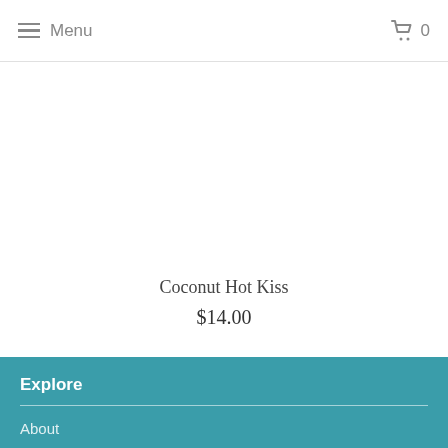Menu  0
Coconut Hot Kiss
$14.00
Explore
About